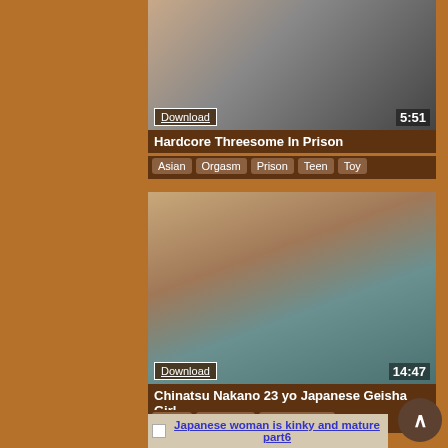[Figure (screenshot): Video thumbnail for 'Hardcore Threesome In Prison' showing duration 5:51 and a Download button]
Hardcore Threesome In Prison
Asian  Orgasm  Prison  Teen  Toy
[Figure (screenshot): Video thumbnail for 'Chinatsu Nakano 23 yo Japanese Geisha Girl' showing duration 14:47 and a Download button]
Chinatsu Nakano 23 yo Japanese Geisha Girl
Asian  Japanese  Masturbating
Japanese woman is kinky and mature part6